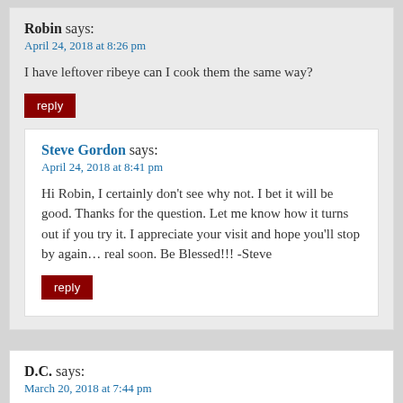Robin says:
April 24, 2018 at 8:26 pm
I have leftover ribeye can I cook them the same way?
reply
Steve Gordon says:
April 24, 2018 at 8:41 pm
Hi Robin, I certainly don’t see why not. I bet it will be good. Thanks for the question. Let me know how it turns out if you try it. I appreciate your visit and hope you’ll stop by again… real soon. Be Blessed!!! -Steve
reply
D.C. says:
March 20, 2018 at 7:44 pm